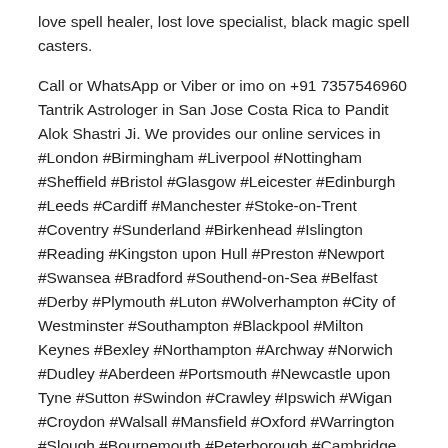love spell healer, lost love specialist, black magic spell casters.
Call or WhatsApp or Viber or imo on +91 7357546960 Tantrik Astrologer in San Jose Costa Rica to Pandit Alok Shastri Ji. We provides our online services in #London #Birmingham #Liverpool #Nottingham #Sheffield #Bristol #Glasgow #Leicester #Edinburgh #Leeds #Cardiff #Manchester #Stoke-on-Trent #Coventry #Sunderland #Birkenhead #Islington #Reading #Kingston upon Hull #Preston #Newport #Swansea #Bradford #Southend-on-Sea #Belfast #Derby #Plymouth #Luton #Wolverhampton #City of Westminster #Southampton #Blackpool #Milton Keynes #Bexley #Northampton #Archway #Norwich #Dudley #Aberdeen #Portsmouth #Newcastle upon Tyne #Sutton #Swindon #Crawley #Ipswich #Wigan #Croydon #Walsall #Mansfield #Oxford #Warrington #Slough #Bournemouth #Peterborough #Cambridge #Doncaster #York #Poole #Gloucester #Burnley #Huddersfield #Telford #Dundee